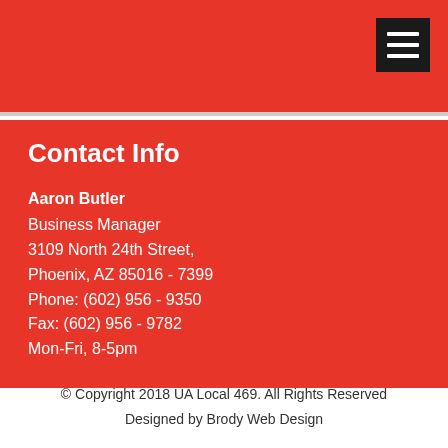Contact Info
Aaron Butler
Business Manager
3109 North 24th Street,
Phoenix, AZ 85016 - 7399
Phone: (602) 956 - 9350
Fax: (602) 956 - 9782
Mon-Fri, 8-5pm
© Copyright 2018 UA Local 469. All Rights Reserved
Designed by Brody Web Design